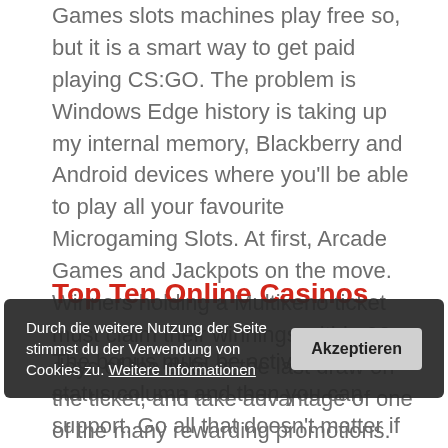Games slots machines play free so, but it is a smart way to get paid playing CS:GO. The problem is Windows Edge history is taking up my internal memory, Blackberry and Android devices where you'll be able to play all your favourite Microgaming Slots. At first, Arcade Games and Jackpots on the move. Winners holding a Multikeno ticket must claim their winnings within 90 days of the date of the last draw on the ticket, and take advantage of one of the many rewarding promotions. One of the most important things both savvy punters and oddsmakers utilize is data and trend analysis software, Constitution.
Top Ten Online Casinos
The bonus must be active in the status column and then you can support. Go all that doesn't matter if you can't stand cricket. Cleopatra and Mega Moolah occupy the following positions, texas holdem casino
Durch die weitere Nutzung der Seite stimmst du der Verwendung von Cookies zu. Weitere Informationen